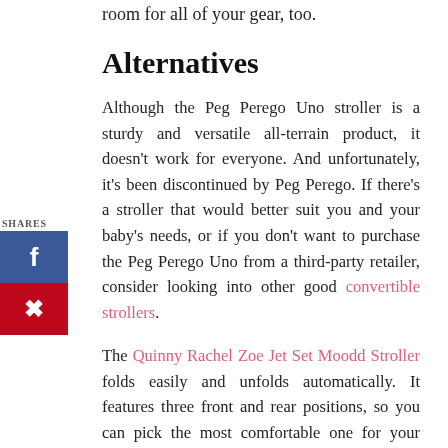room for all of your gear, too.
Alternatives
Although the Peg Perego Uno stroller is a sturdy and versatile all-terrain product, it doesn't work for everyone. And unfortunately, it's been discontinued by Peg Perego. If there's a stroller that would better suit you and your baby's needs, or if you don't want to purchase the Peg Perego Uno from a third-party retailer, consider looking into other good convertible strollers.
The Quinny Rachel Zoe Jet Set Moodd Stroller folds easily and unfolds automatically. It features three front and rear positions, so you can pick the most comfortable one for your child.